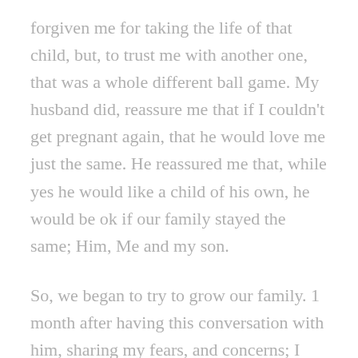forgiven me for taking the life of that child, but, to trust me with another one, that was a whole different ball game. My husband did, reassure me that if I couldn't get pregnant again, that he would love me just the same. He reassured me that, while yes he would like a child of his own, he would be ok if our family stayed the same; Him, Me and my son.
So, we began to try to grow our family. 1 month after having this conversation with him, sharing my fears, and concerns; I noticed something was off with my body. I went to the store and picked up a pregnancy test or 2 that actually spells out the words: pregnant or not pregnant. Yup, sure enough, after all 4 tests (I had to be absolutely sure) showed up positive, I started to do some calculations of the conception date. My God is so good; He heard my fears. He